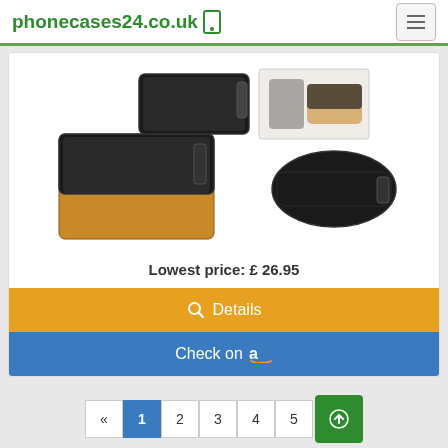phonecases24.co.uk
[Figure (photo): Product photo of black leather phone holster/belt clip case shown from multiple angles — front view closed, side view on belt, open view showing brown interior, and angled side view.]
Lowest price: £ 26.95
Details
Check on Amazon